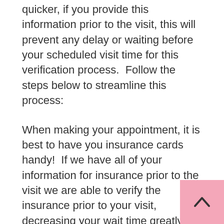quicker, if you provide this information prior to the visit, this will prevent any delay or waiting before your scheduled visit time for this verification process.  Follow the steps below to streamline this process:
When making your appointment, it is best to have you insurance cards handy!  If we have all of your information for insurance prior to the visit we are able to verify the insurance prior to your visit, decreasing your wait time greatly!
You can click on either the PDF version of the New Patient paper work or Word version. You can edit on your computer save and mail it back to our office, fax or hand deliver it prior to your visit.  This is not mandatory but will certainly decrease your wait time in the do office.